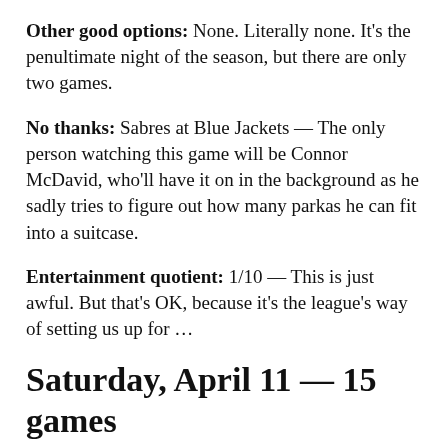Other good options: None. Literally none. It's the penultimate night of the season, but there are only two games.
No thanks: Sabres at Blue Jackets — The only person watching this game will be Connor McDavid, who'll have it on in the background as he sadly tries to figure out how many parkas he can fit into a suitcase.
Entertainment quotient: 1/10 — This is just awful. But that's OK, because it's the league's way of setting us up for …
Saturday, April 11 — 15 games
The can't-miss matchup: Flames at Jets — It's hard to tell which games will really matter two weeks from now, but this one sure looks like it could decide the West's last playoff